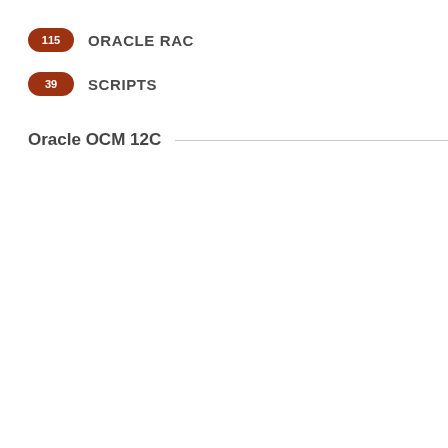115 ORACLE RAC
39 SCRIPTS
Oracle OCM 12C